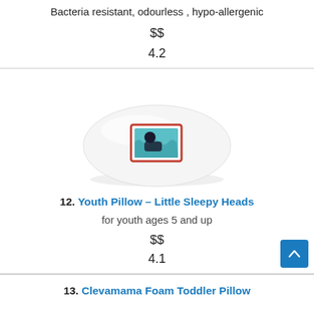Bacteria resistant, odourless , hypo-allergenic
$$
4.2
[Figure (photo): White youth pillow with a decorative illustrated pillowcase showing a child sleeping]
12. Youth Pillow – Little Sleepy Heads
for youth ages 5 and up
$$
4.1
13. Clevamama Foam Toddler Pillow